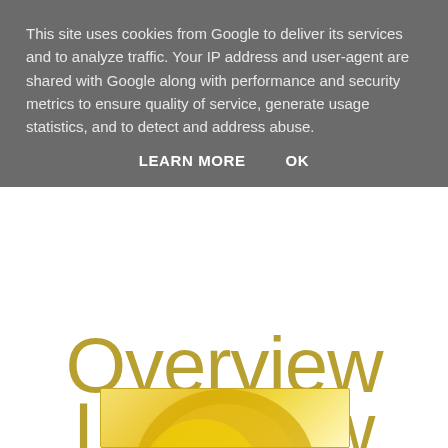This site uses cookies from Google to deliver its services and to analyze traffic. Your IP address and user-agent are shared with Google along with performance and security metrics to ensure quality of service, generate usage statistics, and to detect and address abuse.
LEARN MORE    OK
Overview
Leo New Moon
[Figure (illustration): Partial view of a moon or celestial image with golden/yellow tones, partially cropped at bottom of page]